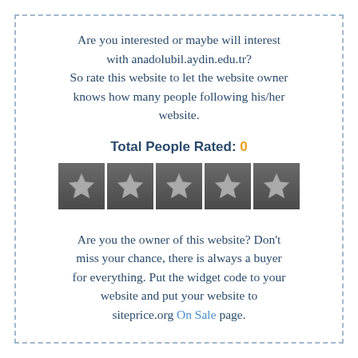Are you interested or maybe will interest with anadolubil.aydin.edu.tr? So rate this website to let the website owner knows how many people following his/her website.
Total People Rated: 0
[Figure (other): Five grey star rating boxes in a row, all unrated (empty/grey stars)]
Are you the owner of this website? Don't miss your chance, there is always a buyer for everything. Put the widget code to your website and put your website to siteprice.org On Sale page.